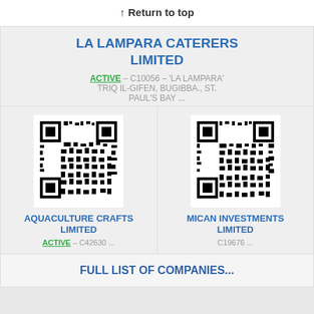↑ Return to top
LA LAMPARA CATERERS LIMITED
ACTIVE – C10056 – 'LA LAMPARA' TRIQ IL-GIFEN, BUGIBBA., ST. PAUL'S BAY ...
[Figure (other): QR code for Aquaculture Crafts Limited]
AQUACULTURE CRAFTS LIMITED
ACTIVE – C42630 ...
[Figure (other): QR code for Mican Investments Limited]
MICAN INVESTMENTS LIMITED
C19676 ...
FULL LIST OF COMPANIES...